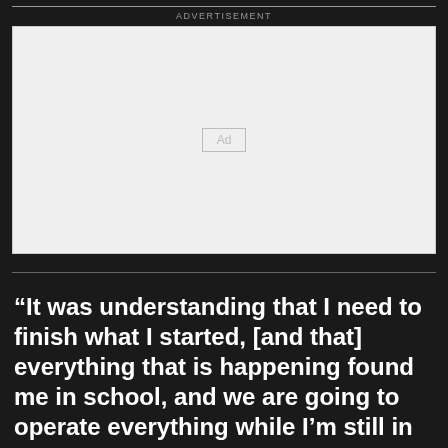ADVERTISEMENT
[Figure (other): Empty advertisement placeholder box with 'Ad' label in center]
“It was understanding that I need to finish what I started, [and that] everything that is happening found me in school, and we are going to operate everything while I’m still in